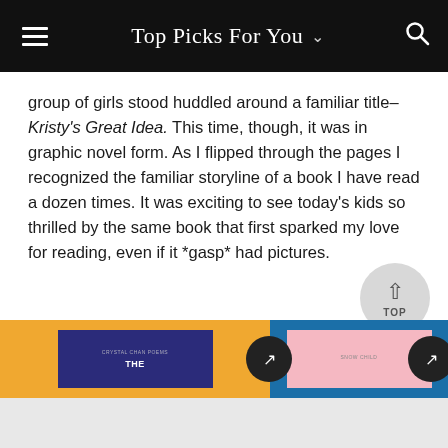Top Picks For You
group of girls stood huddled around a familiar title– Kristy's Great Idea. This time, though, it was in graphic novel form. As I flipped through the pages I recognized the familiar storyline of a book I have read a dozen times. It was exciting to see today's kids so thrilled by the same book that first sparked my love for reading, even if it *gasp* had pictures.
[Figure (screenshot): Bottom navigation banner showing two book recommendation cards on colored backgrounds (orange and blue), each with a dark circular arrow button.]